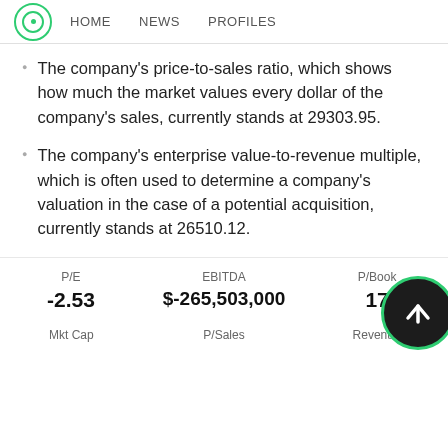HOME   NEWS   PROFILES
The company's price-to-sales ratio, which shows how much the market values every dollar of the company's sales, currently stands at 29303.95.
The company's enterprise value-to-revenue multiple, which is often used to determine a company's valuation in the case of a potential acquisition, currently stands at 26510.12.
| P/E | EBITDA | P/Book |
| --- | --- | --- |
| -2.53 | $-265,503,000 | 17 |
| Mkt Cap | P/Sales | Revenue |
| --- | --- | --- |
|  |  |  |